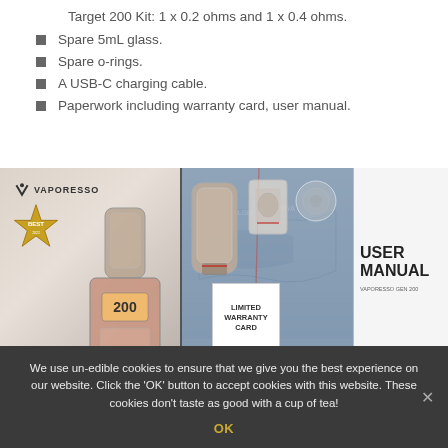Target 200 Kit: 1 x 0.2 ohms and 1 x 0.4 ohms.
Spare 5mL glass.
Spare o-rings.
A USB-C charging cable.
Paperwork including warranty card, user manual.
[Figure (photo): Product photo showing Vaporesso Target 200 Kit box, tank, coils, limited warranty card, and user manual laid out on a map background.]
We use un-edible cookies to ensure that we give you the best experience on our website. Click the 'OK' button to accept cookies with this website. These cookies don't taste as good with a cup of tea!
OK